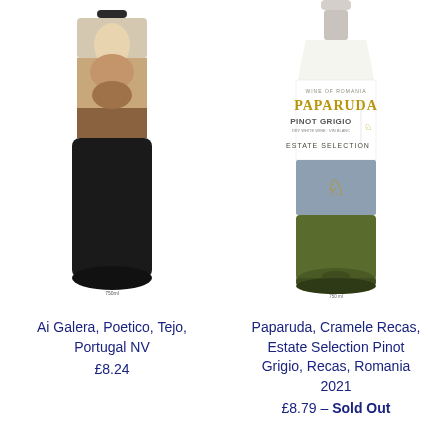[Figure (photo): Wine bottle of Ai Galera Poetico Tejo Portugal NV with illustrated label showing figures on horseback]
[Figure (photo): Wine bottle of Paparuda Cramele Recas Estate Selection Pinot Grigio with white and grey label reading PAPARUDA PINOT GRIGIO ESTATE SELECTION]
Ai Galera, Poetico, Tejo, Portugal NV
£8.24
Paparuda, Cramele Recas, Estate Selection Pinot Grigio, Recas, Romania 2021
£8.79 — Sold Out